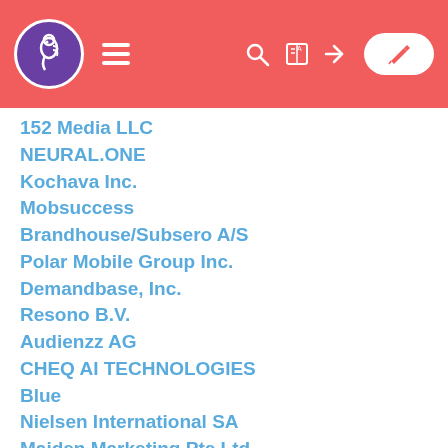Navigation header with logo, hamburger menu, search, book, login icons and edit button
152 Media LLC
NEURAL.ONE
Kochava Inc.
Mobsuccess
Brandhouse/Subsero A/S
Polar Mobile Group Inc.
Demandbase, Inc.
Resono B.V.
Audienzz AG
CHEQ AI TECHNOLOGIES
Blue
Nielsen International SA
Maiden Marketing Pte Ltd
Gamesight Inc
Basis Global Technologies